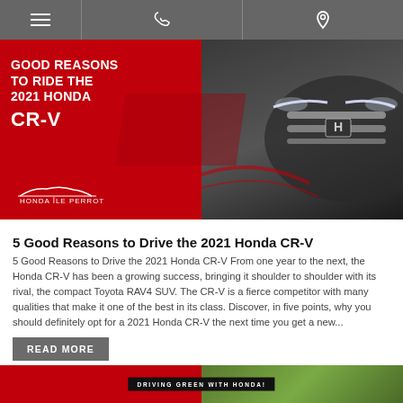Navigation bar with hamburger menu, phone, and location icons
[Figure (photo): Honda CR-V promotional banner with red background on left side showing text 'GOOD REASONS TO RIDE THE 2021 HONDA CR-V' and Honda Île Perrot logo, dark background on right side showing front grille of Honda CR-V]
5 Good Reasons to Drive the 2021 Honda CR-V
5 Good Reasons to Drive the 2021 Honda CR-V From one year to the next, the Honda CR-V has been a growing success, bringing it shoulder to shoulder with its rival, the compact Toyota RAV4 SUV. The CR-V is a fierce competitor with many qualities that make it one of the best in its class. Discover, in five points, why you should definitely opt for a 2021 Honda CR-V the next time you get a new...
READ MORE
[Figure (photo): Partially visible second article banner with red background on left showing 'DRIVING GREEN WITH HONDA!' text on dark banner, and trees/nature on right side]